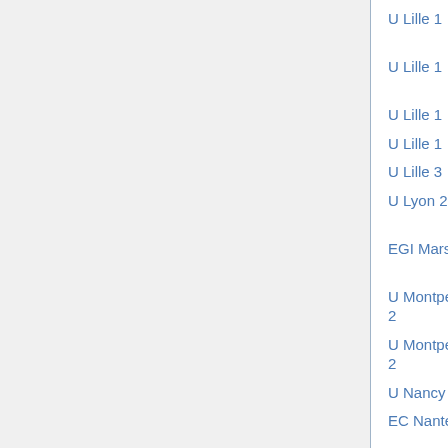| Institution | Description |
| --- | --- |
| U Lille 1 | anal/cx geom (m25) |
| U Lille 1 | arith/alg geom (m25) |
| U Lille 1 | numer anal (m26) |
| U Lille 1 | prob/stat (m26) |
| U Lille 3 | math econ (m26) |
| U Lyon 2 | applied/stat/cs (m26/27) |
| EGI Marseille | sci comp/fluids (m26/60) |
| U Montpellier 2 | various (m25) (3) |
| U Montpellier 2 | numer anal/stat (m26) |
| U Nancy 1 | applied (m26) |
| EC Nantes | EDP/optimiz (m26) |
| U Nantes | probability (m26) |
| U Nice | applied (m25/26) (2) |